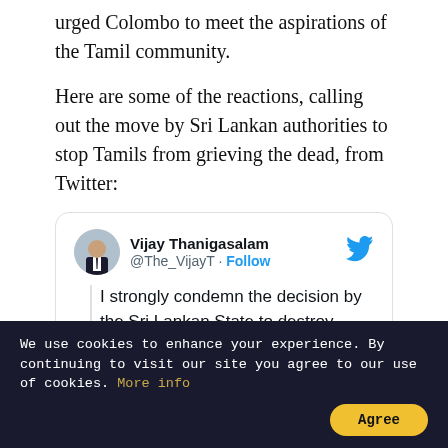urged Colombo to meet the aspirations of the Tamil community.
Here are some of the reactions, calling out the move by Sri Lankan authorities to stop Tamils from grieving the dead, from Twitter:
Vijay Thanigasalam @The_VijayT · Follow
I strongly condemn the decision by the Sri Lankan State to destroy Tamil Memorial inside Jaffna Uni. A monument that honours the hundreds of thousands of Tamil people who were massacred in 2009 by the Sri [Lankan state was being ok...]
We use cookies to enhance your experience. By continuing to visit our site you agree to our use of cookies. More info
Agree